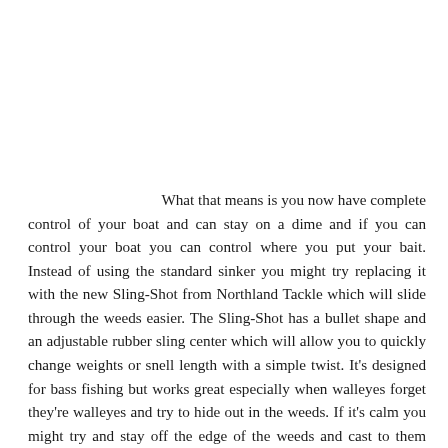What that means is you now have complete control of your boat and can stay on a dime and if you can control your boat you can control where you put your bait. Instead of using the standard sinker you might try replacing it with the new Sling-Shot from Northland Tackle which will slide through the weeds easier. The Sling-Shot has a bullet shape and an adjustable rubber sling center which will allow you to quickly change weights or snell length with a simple twist. It's designed for bass fishing but works great especially when walleyes forget they're walleyes and try to hide out in the weeds. If it's calm you might try and stay off the edge of the weeds and cast to them with a jig head tipped with a minnow or a crawler, or maybe one of the new plastic swim baits like the Slurpies Swim Shiner. Weed walleyes can be plenty aggressive and more than willing to gobble up a sweet looking and tasting plastic bait. Pitching jigs to a weed edge is about as pure as it gets and is all about feel, which makes it so much fun. It also takes a lot of concentration and paying attention to your line, which can reveal the sometimes delicate bite of a walleye. About all you might see is a slight twitch of your line on the surface and if you're not on your toes your bait could get rejected before you ever know what happened. If you